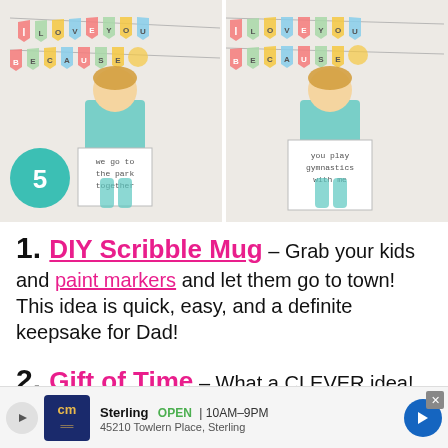[Figure (photo): Two side-by-side photos of a young blonde girl in teal pajamas holding handwritten signs under colorful 'I LOVE YOU BECAUSE' bunting banners. Left photo has a teal circle with number 5. Left sign reads 'we go to the park together'. Right sign reads 'you play gymnastics with me'.]
1. DIY Scribble Mug – Grab your kids and paint markers and let them go to town! This idea is quick, easy, and a definite keepsake for Dad!
2. Gift of Time – What a CLEVER idea! Create a jar of ... h Dad
[Figure (screenshot): Advertisement banner for CarMax Sterling location. Shows CM logo, store name 'Sterling', OPEN 10AM-9PM, address 45210 Towlern Place Sterling, navigation arrow icon, play button, and close X button.]